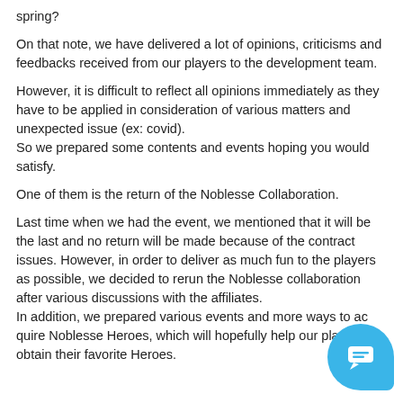spring?
On that note, we have delivered a lot of opinions, criticisms and feedbacks received from our players to the development team.
However, it is difficult to reflect all opinions immediately as they have to be applied in consideration of various matters and unexpected issue (ex: covid).
So we prepared some contents and events hoping you would satisfy.
One of them is the return of the Noblesse Collaboration.
Last time when we had the event, we mentioned that it will be the last and no return will be made because of the contract issues. However, in order to deliver as much fun to the players as possible, we decided to rerun the Noblesse collaboration after various discussions with the affiliates.
In addition, we prepared various events and more ways to acquire Noblesse Heroes, which will hopefully help our players to obtain their favorite Heroes.